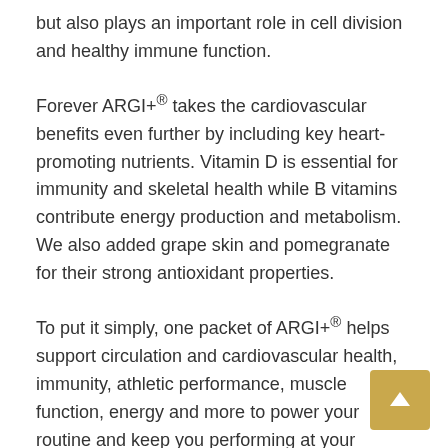but also plays an important role in cell division and healthy immune function.
Forever ARGI+® takes the cardiovascular benefits even further by including key heart-promoting nutrients. Vitamin D is essential for immunity and skeletal health while B vitamins contribute energy production and metabolism. We also added grape skin and pomegranate for their strong antioxidant properties.
To put it simply, one packet of ARGI+® helps support circulation and cardiovascular health, immunity, athletic performance, muscle function, energy and more to power your routine and keep you performing at your absolute best.
Simply stir a packet into water to enjoy the lively berry flavors or add it to your favorite beverage. Forever ARGI+® pairs deliciously with Forever Aloe Berry Nectar® or our